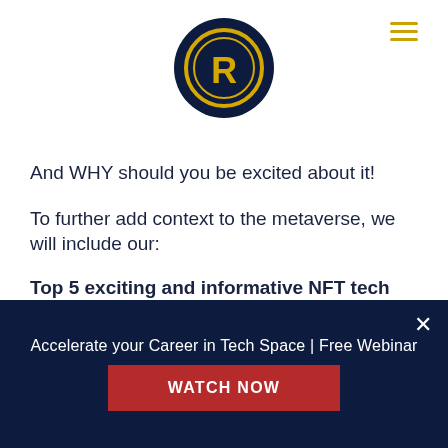[Figure (logo): Circular logo with dark navy background and gold 'R' letter symbol inside a gold circle ring]
And WHY should you be excited about it!
To further add context to the metaverse, we will include our:
Top 5 exciting and informative NFT tech podcasts that we know you'll enjoy this month,
…plus 5 NFT innovations!
As always, we will round things off with our monthly 4 tech news stories!
Accelerate your Career in Tech Space | Free Webinar
WATCH NOW